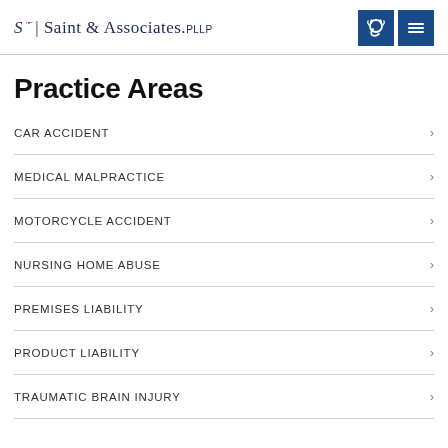Saint & Associates, PLLP
Practice Areas
CAR ACCIDENT
MEDICAL MALPRACTICE
MOTORCYCLE ACCIDENT
NURSING HOME ABUSE
PREMISES LIABILITY
PRODUCT LIABILITY
TRAUMATIC BRAIN INJURY